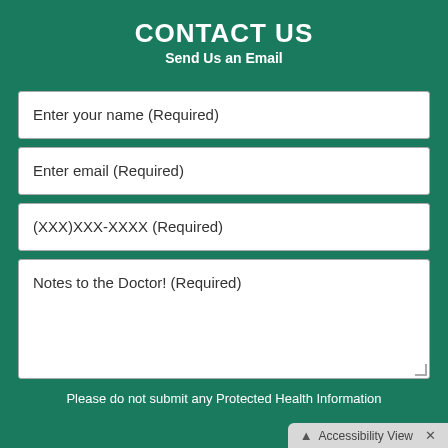CONTACT US
Send Us an Email
Enter your name (Required)
Enter email (Required)
(XXX)XXX-XXXX (Required)
Notes to the Doctor! (Required)
Please do not submit any Protected Health Information
Accessibility View